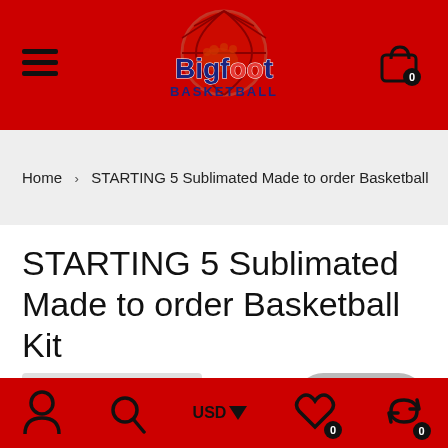[Figure (logo): Bigfoot Basketball logo — stylized text 'Bigfoot' with a basketball graphic above and 'BASKETBALL' below, on a red background header bar]
Home › STARTING 5 Sublimated Made to order Basketball
STARTING 5 Sublimated Made to order Basketball Kit
[Figure (screenshot): Bottom navigation bar with user icon, search icon, USD currency selector, wishlist icon with 0 badge, and cart/refresh icon with 0 badge, on red background]